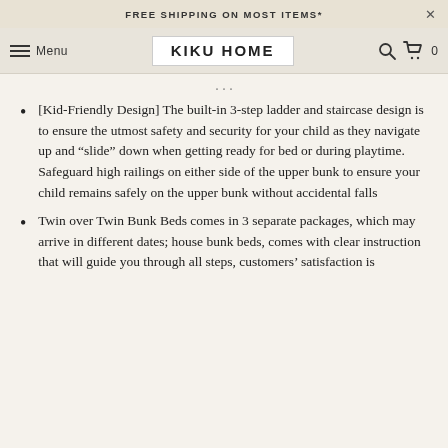FREE SHIPPING ON MOST ITEMS*
KIKU HOME
[Kid-Friendly Design] The built-in 3-step ladder and staircase design is to ensure the utmost safety and security for your child as they navigate up and “slide” down when getting ready for bed or during playtime. Safeguard high railings on either side of the upper bunk to ensure your child remains safely on the upper bunk without accidental falls
Twin over Twin Bunk Beds comes in 3 separate packages, which may arrive in different dates; house bunk beds, comes with clear instruction that will guide you through all steps, customers’ satisfaction is